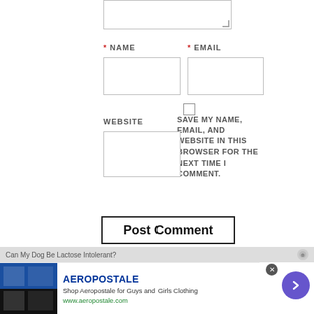[Figure (screenshot): Textarea input box (partial, top of page)]
* NAME
* EMAIL
[Figure (screenshot): Name input field box]
[Figure (screenshot): Email input field box]
[Figure (screenshot): Checkbox for save my name]
WEBSITE
SAVE MY NAME, EMAIL, AND WEBSITE IN THIS BROWSER FOR THE NEXT TIME I COMMENT.
[Figure (screenshot): Website input field box]
Post Comment
Can My Dog Be Lactose Intolerant?
AEROPOSTALE
Shop Aeropostale for Guys and Girls Clothing
www.aeropostale.com